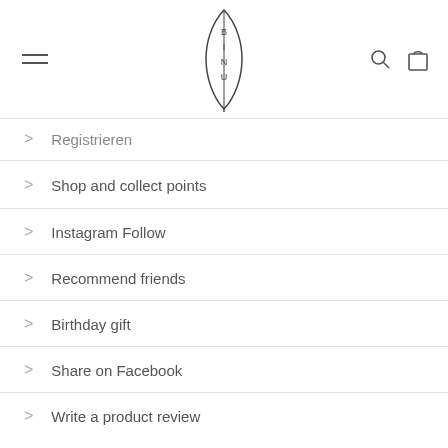BINU logo with hamburger menu, search, and bag icons
Registrieren
Shop and collect points
Instagram Follow
Recommend friends
Birthday gift
Share on Facebook
Write a product review
REWARDS